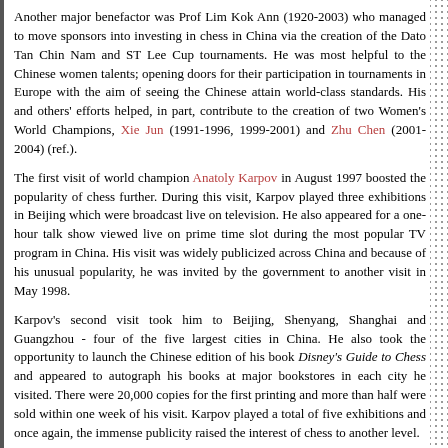Another major benefactor was Prof Lim Kok Ann (1920-2003) who managed to move sponsors into investing in chess in China via the creation of the Dato Tan Chin Nam and ST Lee Cup tournaments. He was most helpful to the Chinese women talents; opening doors for their participation in tournaments in Europe with the aim of seeing the Chinese attain world-class standards. His and others' efforts helped, in part, contribute to the creation of two Women's World Champions, Xie Jun (1991-1996, 1999-2001) and Zhu Chen (2001-2004) (ref.).
The first visit of world champion Anatoly Karpov in August 1997 boosted the popularity of chess further. During this visit, Karpov played three exhibitions in Beijing which were broadcast live on television. He also appeared for a one-hour talk show viewed live on prime time slot during the most popular TV program in China. His visit was widely publicized across China and because of his unusual popularity, he was invited by the government to another visit in May 1998.
Karpov's second visit took him to Beijing, Shenyang, Shanghai and Guangzhou - four of the five largest cities in China. He also took the opportunity to launch the Chinese edition of his book Disney's Guide to Chess and appeared to autograph his books at major bookstores in each city he visited. There were 20,000 copies for the first printing and more than half were sold within one week of his visit. Karpov played a total of five exhibitions and once again, the immense publicity raised the interest of chess to another level.
At present, in terms of media publicity, chess is ahead followed by